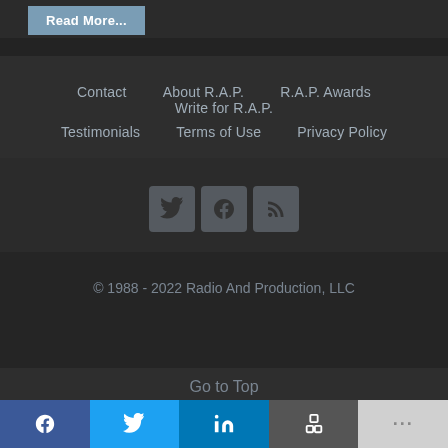Read More...
Contact   About R.A.P.   R.A.P. Awards   Write for R.A.P.   Testimonials   Terms of Use   Privacy Policy
[Figure (other): Social media icon buttons for Twitter, Facebook, and RSS feed]
© 1988 - 2022 Radio And Production, LLC
Go to Top
f  (Twitter bird icon)  in  (Share icon)  ...